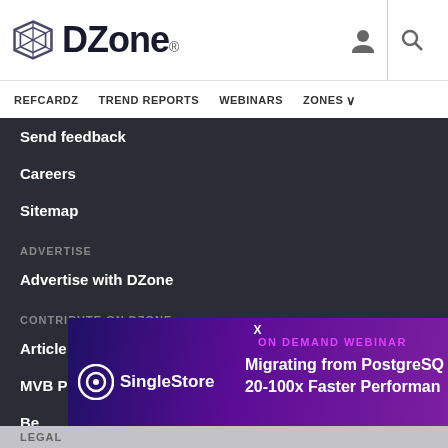DZone
REFCARDZ
TREND REPORTS
WEBINARS
ZONES
Send feedback
Careers
Sitemap
ADVERTISE
Advertise with DZone
CONTRIBUTE ON DZONE
Article Submission Guidelines
MVB Program
Be
Vi
[Figure (screenshot): ON DEMAND WEBINAR advertisement for SingleStore: Migrating from PostgreSQL 20-100x Faster Performance]
LEGAL